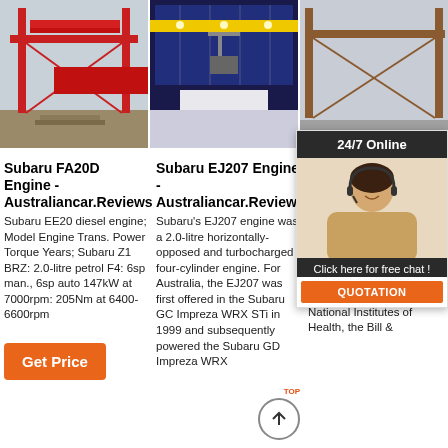[Figure (photo): Red gantry crane outdoors on construction site]
[Figure (photo): Indoor overhead crane in blue industrial facility]
[Figure (photo): Brown gantry crane structure outdoors with 24/7 Online chat overlay]
Subaru FA20D Engine - Australiancar.Reviews
Subaru EE20 diesel engine; Model Engine Trans. Power Torque Years; Subaru Z1 BRZ: 2.0-litre petrol F4: 6sp man., 6sp auto 147kW at 7000rpm: 205Nm at 6400-6600rpm
[Figure (other): Get Price orange button]
Subaru EJ207 Engine - Australiancar.Reviews
Subaru's EJ207 engine was a 2.0-litre horizontally-opposed and turbocharged four-cylinder engine. For Australia, the EJ207 was first offered in the Subaru GC Impreza WRX STi in 1999 and subsequently powered the Subaru GD Impreza WRX
Resea IDM 2021-12-21u200...
in the IDM over 34 principal in the basic, clinical and public health sciences, and has a strong translational focus. Grant and contract funding sourced from the US National Institutes of Health, the Bill &